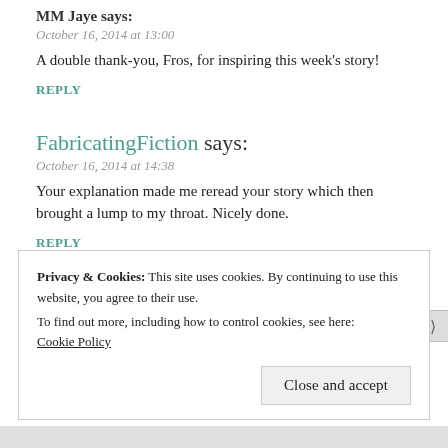MM Jaye says:
October 16, 2014 at 13:00
A double thank-you, Fros, for inspiring this week's story!
REPLY
FabricatingFiction says:
October 16, 2014 at 14:38
Your explanation made me reread your story which then brought a lump to my throat. Nicely done.
REPLY
MM Jaye says:
Privacy & Cookies: This site uses cookies. By continuing to use this website, you agree to their use.
To find out more, including how to control cookies, see here:
Cookie Policy
Close and accept